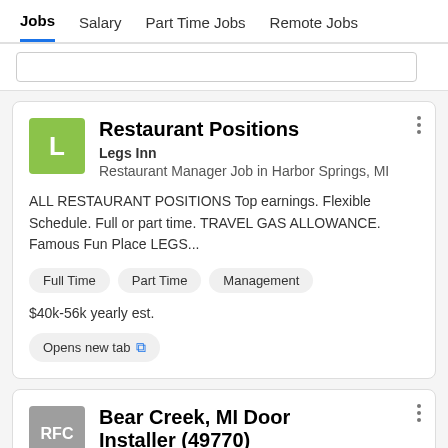Jobs  Salary  Part Time Jobs  Remote Jobs
Restaurant Positions
Legs Inn
Restaurant Manager Job in Harbor Springs, MI
ALL RESTAURANT POSITIONS Top earnings. Flexible Schedule. Full or part time. TRAVEL GAS ALLOWANCE. Famous Fun Place LEGS...
Full Time
Part Time
Management
$40k-56k yearly est.
Opens new tab
Bear Creek, MI Door Installer (49770)